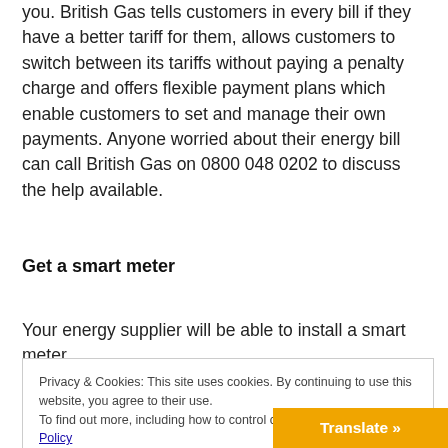you. British Gas tells customers in every bill if they have a better tariff for them, allows customers to switch between its tariffs without paying a penalty charge and offers flexible payment plans which enable customers to set and manage their own payments. Anyone worried about their energy bill can call British Gas on 0800 048 0202 to discuss the help available.
Get a smart meter
Your energy supplier will be able to install a smart meter,
Privacy & Cookies: This site uses cookies. By continuing to use this website, you agree to their use.
To find out more, including how to control cookies, see here: Cookie Policy
Close and accept
Translate »